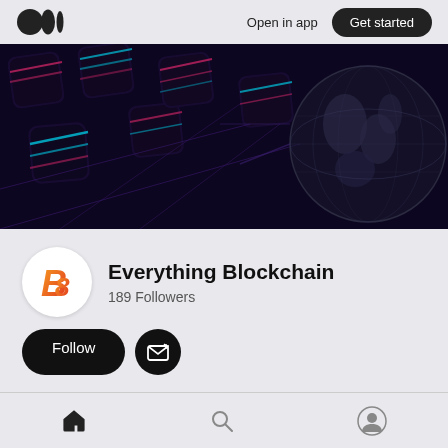Open in app | Get started
[Figure (illustration): Dark purple blockchain banner with glowing hexagonal blocks in neon pink and cyan colors, and a transparent globe on the right side]
[Figure (logo): Everything Blockchain logo: orange and red 'B' with '8' letterform on white circle background]
Everything Blockchain
189 Followers
Follow
Home  About
Home  Search  Profile